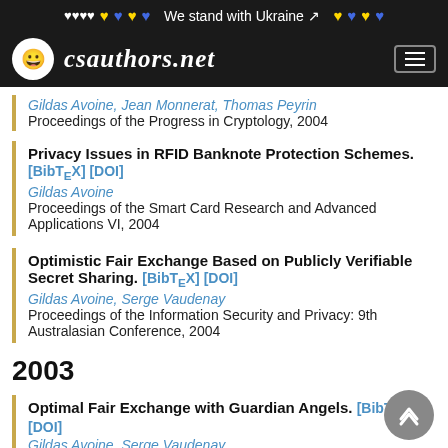We stand with Ukraine
csauthors.net
Gildas Avoine, Jean Monnerat, Thomas Peyrin
Proceedings of the Progress in Cryptology, 2004
Privacy Issues in RFID Banknote Protection Schemes. [BibTeX] [DOI]
Gildas Avoine
Proceedings of the Smart Card Research and Advanced Applications VI, 2004
Optimistic Fair Exchange Based on Publicly Verifiable Secret Sharing. [BibTeX] [DOI]
Gildas Avoine, Serge Vaudenay
Proceedings of the Information Security and Privacy: 9th Australasian Conference, 2004
2003
Optimal Fair Exchange with Guardian Angels. [BibTeX] [DOI]
Gildas Avoine, Serge Vaudenay